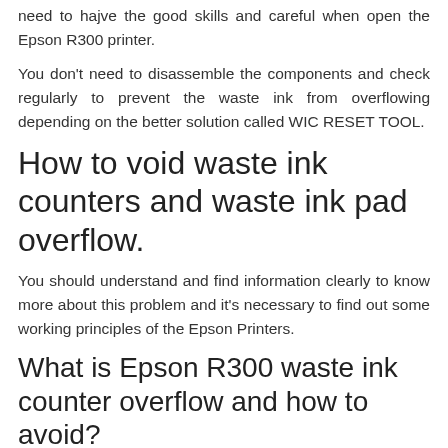need to hajve the good skills and careful when open the Epson R300 printer.
You don't need to disassemble the components and check regularly to prevent the waste ink from overflowing depending on the better solution called WIC RESET TOOL.
How to void waste ink counters and waste ink pad overflow.
You should understand and find information clearly to know more about this problem and it's necessary to find out some working principles of the Epson Printers.
What is Epson R300 waste ink counter overflow and how to avoid?